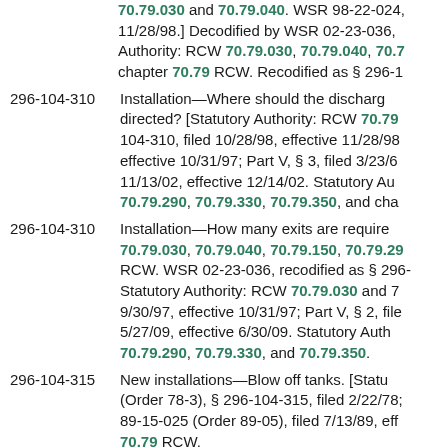70.79.030 and 70.79.040. WSR 98-22-024, 11/28/98.] Decodified by WSR 02-23-036, Authority: RCW 70.79.030, 70.79.040, 70.7... chapter 70.79 RCW. Recodified as § 296-1
296-104-310 Installation—Where should the discharge directed? [Statutory Authority: RCW 70.79... 104-310, filed 10/28/98, effective 11/28/98 effective 10/31/97; Part V, § 3, filed 3/23/6 11/13/02, effective 12/14/02. Statutory Au 70.79.290, 70.79.330, 70.79.350, and cha
296-104-310 Installation—How many exits are require 70.79.030, 70.79.040, 70.79.150, 70.79.29 RCW. WSR 02-23-036, recodified as § 296- Statutory Authority: RCW 70.79.030 and 7 9/30/97, effective 10/31/97; Part V, § 2, file 5/27/09, effective 6/30/09. Statutory Auth 70.79.290, 70.79.330, and 70.79.350.
296-104-315 New installations—Blow off tanks. [Statu (Order 78-3), § 296-104-315, filed 2/22/78; 89-15-025 (Order 89-05), filed 7/13/89, eff 70.79 RCW.